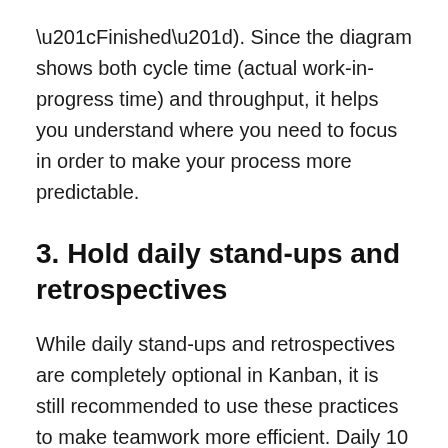“Finished”). Since the diagram shows both cycle time (actual work-in-progress time) and throughput, it helps you understand where you need to focus in order to make your process more predictable.
3. Hold daily stand-ups and retrospectives
While daily stand-ups and retrospectives are completely optional in Kanban, it is still recommended to use these practices to make teamwork more efficient. Daily 10 minute stand-ups are good for sharing daily updates